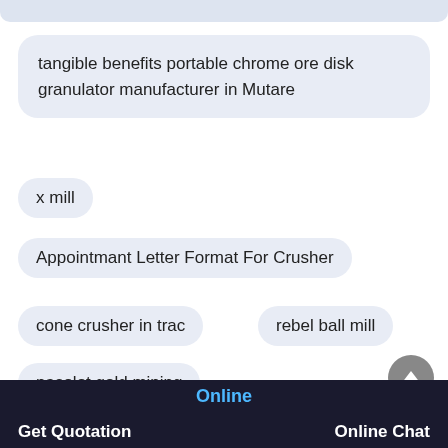tangible benefits portable chrome ore disk granulator manufacturer in Mutare
x mill
Appointmant Letter Format For Crusher
cone crusher in trac
rebel ball mill
nasolot gold mining
Nicaragua high quality medium calcining ore
Online   Get Quotation   Online Chat